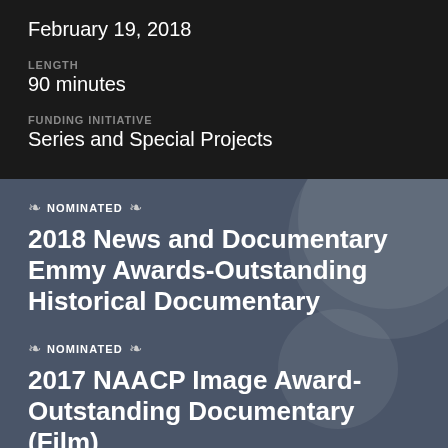February 19, 2018
LENGTH
90 minutes
FUNDING INITIATIVE
Series and Special Projects
NOMINATED
2018 News and Documentary Emmy Awards-Outstanding Historical Documentary
NOMINATED
2017 NAACP Image Award-Outstanding Documentary (Film)